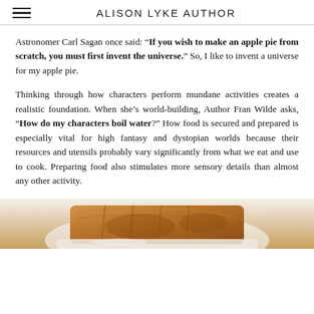ALISON LYKE AUTHOR
Astronomer Carl Sagan once said: “If you wish to make an apple pie from scratch, you must first invent the universe.” So, I like to invent a universe for my apple pie.
Thinking through how characters perform mundane activities creates a realistic foundation. When she’s world-building, Author Fran Wilde asks, “How do my characters boil water?” How food is secured and prepared is especially vital for high fantasy and dystopian worlds because their resources and utensils probably vary significantly from what we eat and use to cook. Preparing food also stimulates more sensory details than almost any other activity.
[Figure (photo): Partial view of a baked apple pie in a white dish, golden-brown crust visible, from above.]